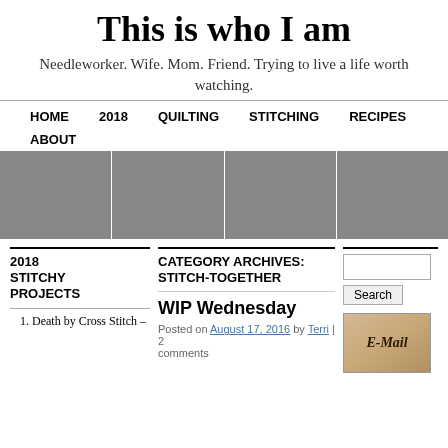This is who I am
Needleworker. Wife. Mom. Friend. Trying to live a life worth watching.
HOME   2018   QUILTING   STITCHING   RECIPES   ABOUT
[Figure (illustration): Banner with four classical paintings showing women doing needlework/crafts]
2018 STITCHY PROJECTS
CATEGORY ARCHIVES: STITCH-TOGETHER
WIP Wednesday
Posted on August 17, 2016 by Terri | 2 comments
Death by Cross Stitch –